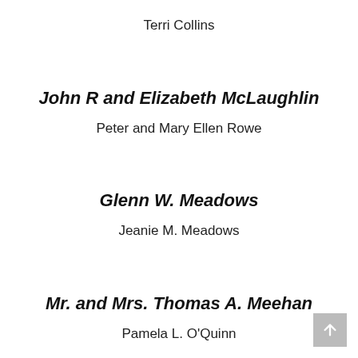Terri Collins
John R and Elizabeth McLaughlin
Peter and Mary Ellen Rowe
Glenn W. Meadows
Jeanie M. Meadows
Mr. and Mrs. Thomas A. Meehan
Pamela L. O'Quinn
Mr. Thomas R. Meehan